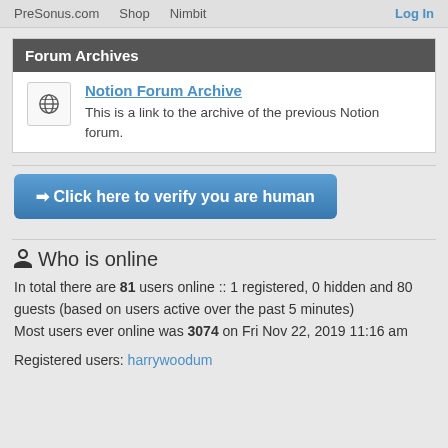PreSonus.com   Shop   Nimbit   Log In
Forum Archives
Notion Forum Archive
This is a link to the archive of the previous Notion forum.
➜ Click here to verify you are human
Who is online
In total there are 81 users online :: 1 registered, 0 hidden and 80 guests (based on users active over the past 5 minutes)
Most users ever online was 3074 on Fri Nov 22, 2019 11:16 am
Registered users: harrywoodum